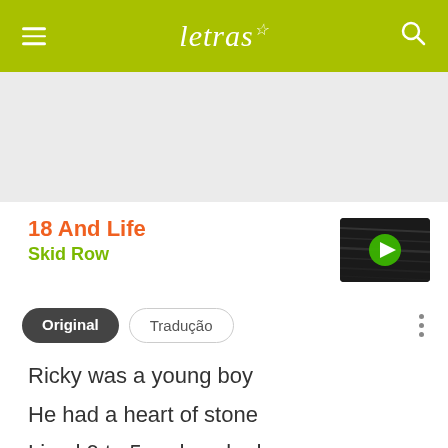letras
[Figure (other): Gray advertisement/banner area]
18 And Life
Skid Row
[Figure (screenshot): Video thumbnail with play button for Skid Row - 18 And Life]
Original   Tradução
Ricky was a young boy
He had a heart of stone
Lived 9 to 5 and worked
His fingers to the bone
Just...